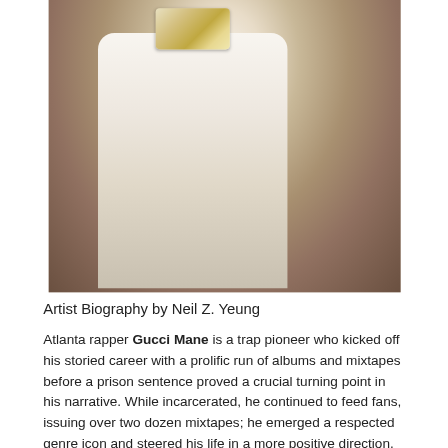[Figure (photo): Photo of Gucci Mane wearing a white striped jacket and diamond jewelry including a chain and watch, raising his hand]
Artist Biography by Neil Z. Yeung
Atlanta rapper Gucci Mane is a trap pioneer who kicked off his storied career with a prolific run of albums and mixtapes before a prison sentence proved a crucial turning point in his narrative. While incarcerated, he continued to feed fans, issuing over two dozen mixtapes; he emerged a respected genre icon and steered his life in a more positive direction. Continuing his busy recording schedule, he released over a dozen sets in just a few years, including post-prison career highlights Everybody Looking (2016), Mr. Davis (2017), and Woptober II (2019), which were all Top Ten hits on the album charts. In 2021, the mogul released his 15th full-length, Ice Daddy.
Born Radric Davis in Bessemer, Alabama, the artist grew up composing rhymes, writing poetry in elementary school...